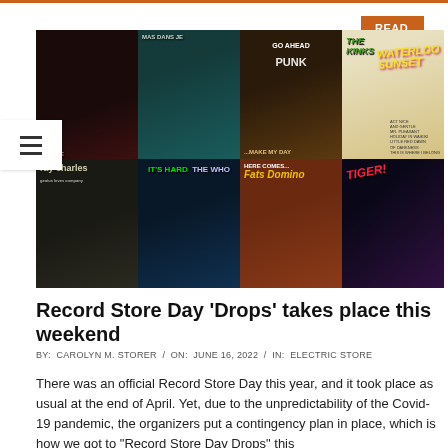READ MORE →
[Figure (photo): A grid of 8 vinyl/music album covers including Ray Charles, The Who 'It's Hard', Fats Domino 'Here Comes...', The Kinks 'Waterloo Sunset', 'Go Ahead Punk...Make My Day', and other albums arranged in a 4x2 grid.]
Record Store Day 'Drops' takes place this weekend
BY: CAROLYN M. STORER / ON: JUNE 16, 2022 / IN: ELECTRIC STORE
There was an official Record Store Day this year, and it took place as usual at the end of April. Yet, due to the unpredictability of the Covid-19 pandemic, the organizers put a contingency plan in place, which is how we got to "Record Store Day Drops" this